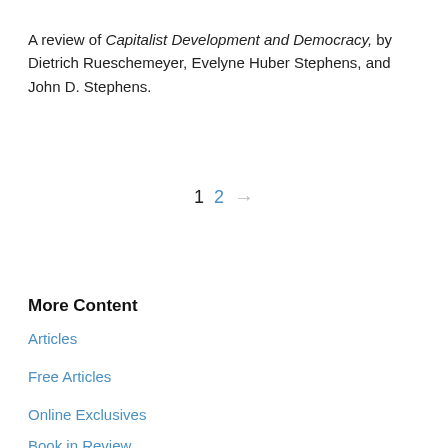A review of Capitalist Development and Democracy, by Dietrich Rueschemeyer, Evelyne Huber Stephens, and John D. Stephens.
1  2  →
More Content
Articles
Free Articles
Online Exclusives
Book in Review